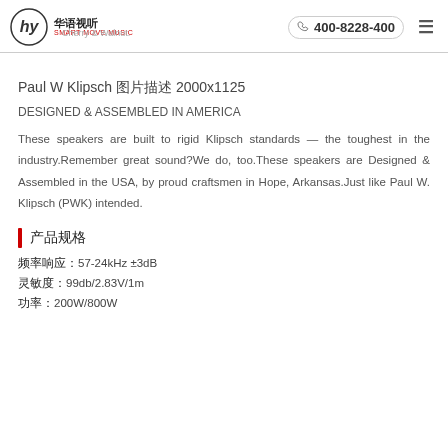华语视听 SMART MOVE MUSIC — Cherry & Walnut. 400-8228-400
Paul W Klipsch 图片描述 2000x1125
DESIGNED & ASSEMBLED IN AMERICA
These speakers are built to rigid Klipsch standards — the toughest in the industry.Remember great sound?We do, too.These speakers are Designed & Assembled in the USA, by proud craftsmen in Hope, Arkansas.Just like Paul W. Klipsch (PWK) intended.
产品规格
频率响应：57-24kHz ±3dB
灵敏度：99db/2.83V/1m
功率：200W/800W